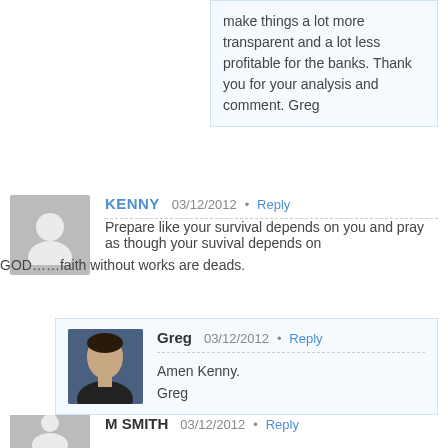make things a lot more transparent and a lot less profitable for the banks. Thank you for your analysis and comment. Greg
KENNY   03/12/2012  •  Reply
Prepare like your survival depends on you and pray as though your suvival depends on GOD……faith without works are deads.
Greg   03/12/2012  •  Reply
Amen Kenny.
Greg
M SMITH   03/12/2012  •  Reply